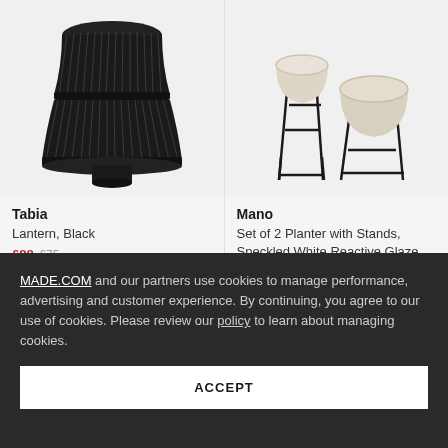[Figure (photo): Black woven rattan lantern, close-up product photo on light grey background]
[Figure (photo): Set of 2 white speckled ceramic planters on tall black metal stands, product photo on light grey background]
Tabia
Lantern, Black
Mano
Set of 2 Planter with Stands, Speckled White Reactive Glaze
MADE.COM and our partners use cookies to manage performance, advertising and customer experience. By continuing, you agree to our use of cookies. Please review our policy to learn about managing cookies.
ACCEPT